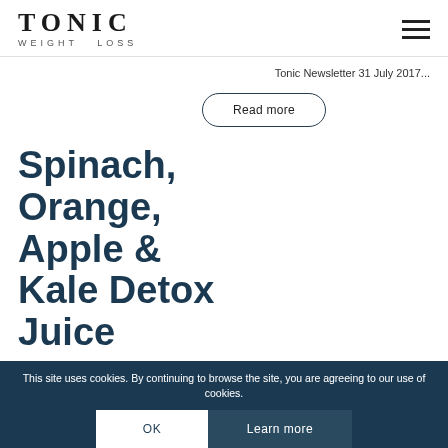TONIC WEIGHT LOSS
Tonic Newsletter 31 July 2017...
Read more
Spinach, Orange, Apple & Kale Detox Juice
If you're looking f... easy, fresh green...
This site uses cookies. By continuing to browse the site, you are agreeing to our use of cookies.
OK
Learn more